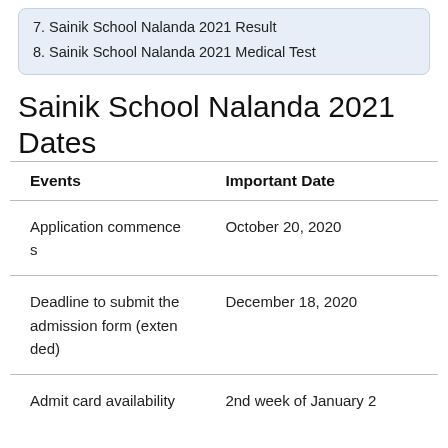7. Sainik School Nalanda 2021 Result
8. Sainik School Nalanda 2021 Medical Test
Sainik School Nalanda 2021 Dates
| Events | Important Date |
| --- | --- |
| Application commences | October 20, 2020 |
| Deadline to submit the admission form (extended) | December 18, 2020 |
| Admit card availability | 2nd week of January 2 |